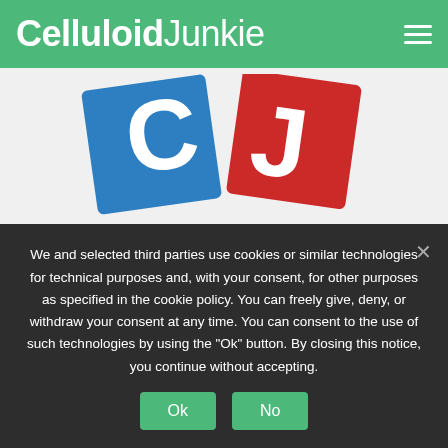Celluloid Junkie
[Figure (logo): Celluloid Junkie logo with blue C and red J letters on tilted squares, and the text 'CelluloidJunkie' below in bold black]
Celluloid Junkie is the leading online resource dedicated to the global film and cinema business. Join a growing
We and selected third parties use cookies or similar technologies for technical purposes and, with your consent, for other purposes as specified in the cookie policy. You can freely give, deny, or withdraw your consent at any time. You can consent to the use of such technologies by using the "Ok" button. By closing this notice, you continue without accepting.